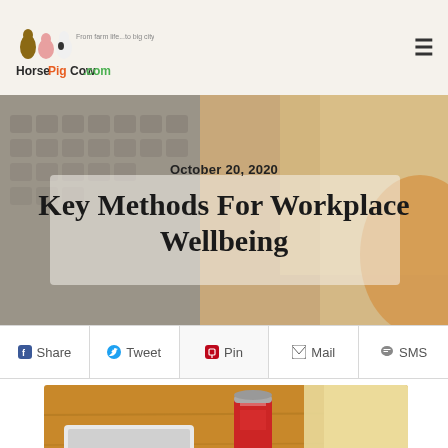HorsePigCow.com — From farm life...to big city life
October 20, 2020
Key Methods For Workplace Wellbeing
Share  Tweet  Pin  Mail  SMS
[Figure (photo): Blonde woman working on laptop at wooden desk with red beverage can nearby]